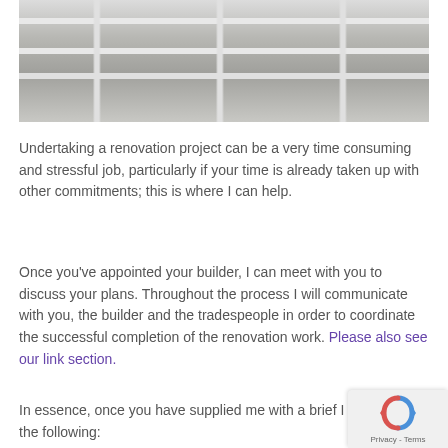[Figure (photo): Photo of white shelving or workshop bench structure with horizontal rails and vertical supports]
Undertaking a renovation project can be a very time consuming and stressful job, particularly if your time is already taken up with other commitments; this is where I can help.
Once you've appointed your builder, I can meet with you to discuss your plans. Throughout the process I will communicate with you, the builder and the tradespeople in order to coordinate the successful completion of the renovation work. Please also see our link section.
In essence, once you have supplied me with a brief I can organize the following: